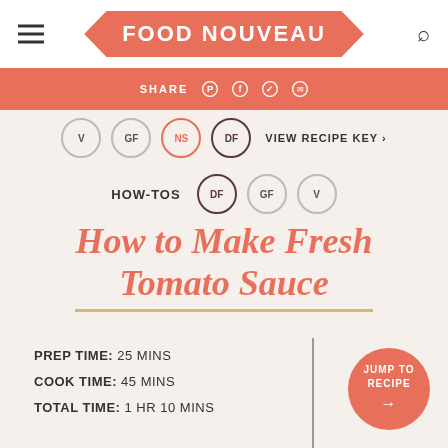FOOD NOUVEAU
SHARE
V GF NS DF VIEW RECIPE KEY
HOW-TOS DF GF V
How to Make Fresh Tomato Sauce
PREP TIME: 25 MINS
COOK TIME: 45 MINS
TOTAL TIME: 1 HR 10 MINS
JUMP TO RECIPE →